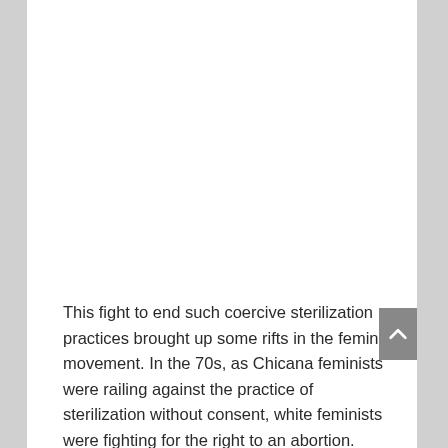This fight to end such coercive sterilization practices brought up some rifts in the feminist movement. In the 70s, as Chicana feminists were railing against the practice of sterilization without consent, white feminists were fighting for the right to an abortion. Laura Jimenez, the Executive Director of California Latinas for Reproductive Justice tells Salon that mainstream